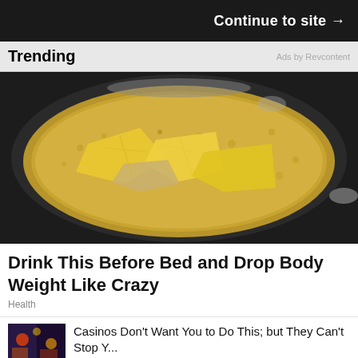Continue to site →
Trending
Ads by Revcontent
[Figure (photo): A pot on a stove with boiling water and lemon/ginger slices]
Drink This Before Bed and Drop Body Weight Like Crazy
Health
Casinos Don't Want You to Do This; but They Can't Stop Y...